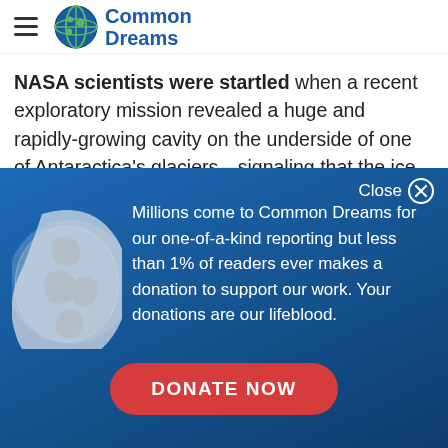Common Dreams
NASA scientists were startled when a recent exploratory mission revealed a huge and rapidly-growing cavity on the underside of one of Antaractica's glaciers—signaling that the ice mass has
[Figure (screenshot): Donation modal overlay on Common Dreams website with globe icon, text about donations, and a red DONATE NOW button]
Millions come to Common Dreams for our one-of-a-kind reporting but less than 1% of readers ever makes a donation to support our work. Your donations are our lifeblood.
DONATE NOW